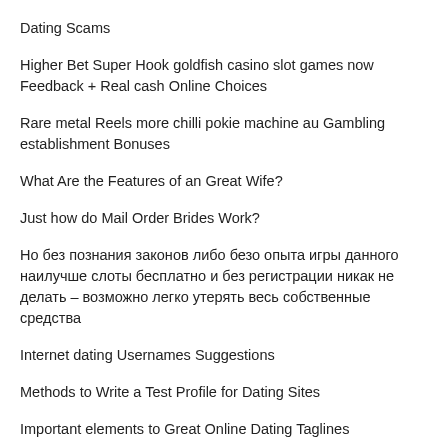Dating Scams
Higher Bet Super Hook goldfish casino slot games now Feedback + Real cash Online Choices
Rare metal Reels more chilli pokie machine au Gambling establishment Bonuses
What Are the Features of an Great Wife?
Just how do Mail Order Brides Work?
Но без познания законов либо безо опыта игры данного наилучше слоты бесплатно и без регистрации никак не делать – возможно легко утерять весь собственные средства
Internet dating Usernames Suggestions
Methods to Write a Test Profile for Dating Sites
Important elements to Great Online Dating Taglines